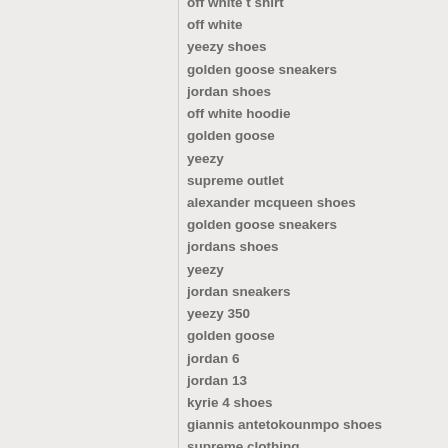off white t shirt
off white
yeezy shoes
golden goose sneakers
jordan shoes
off white hoodie
golden goose
yeezy
supreme outlet
alexander mcqueen shoes
golden goose sneakers
jordans shoes
yeezy
jordan sneakers
yeezy 350
golden goose
jordan 6
jordan 13
kyrie 4 shoes
giannis antetokounmpo shoes
supreme clothing
golden goose
air jordan
off-white